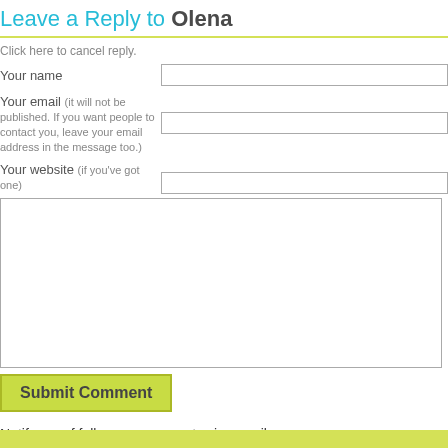Leave a Reply to Olena
Click here to cancel reply.
Your name
Your email (it will not be published. If you want people to contact you, leave your email address in the message too.)
Your website (if you've got one)
Submit Comment
Notify me of follow-up comments via e-mail